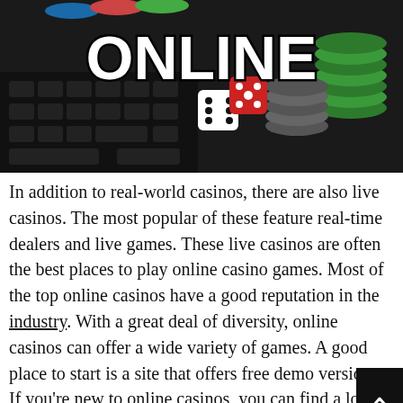[Figure (photo): Photo of casino items (dice, poker chips, keyboard) with large 'ONLINE' text overlay in bold white letters with black outline]
In addition to real-world casinos, there are also live casinos. The most popular of these feature real-time dealers and live games. These live casinos are often the best places to play online casino games. Most of the top online casinos have a good reputation in the industry. With a great deal of diversity, online casinos can offer a wide variety of games. A good place to start is a site that offers free demo versions.
If you're new to online casinos, you can find a lot of different games. You can also find a lot of